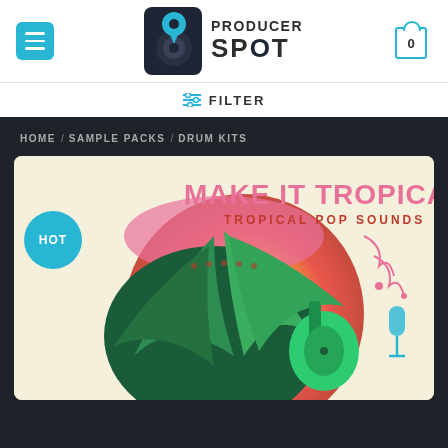[Figure (logo): Producer Spot logo with speaker/pin icon]
FILTER
HOME / SAMPLE PACKS / DRUM KITS
[Figure (photo): Make It Tropical - Tropical Pop Sounds product cover art with HOT badge, tropical palm leaves, guitar, and colorful gradient circle on cream background]